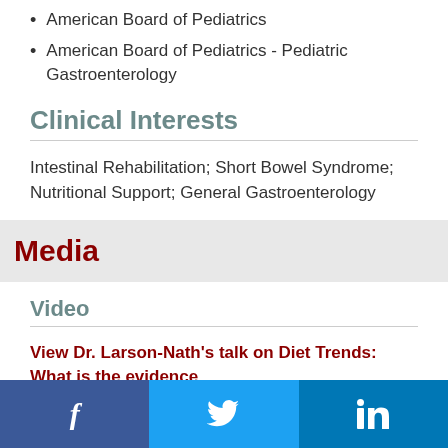American Board of Pediatrics
American Board of Pediatrics - Pediatric Gastroenterology
Clinical Interests
Intestinal Rehabilitation; Short Bowel Syndrome; Nutritional Support; General Gastroenterology
Media
Video
View Dr. Larson-Nath's talk on Diet Trends: What is the evidence
Facebook | Twitter | LinkedIn